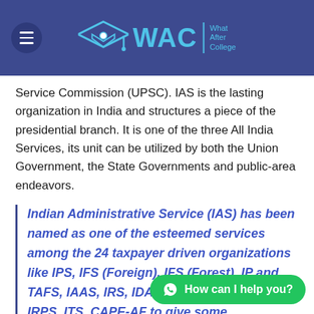WAC | What After College
Service Commission (UPSC). IAS is the lasting organization in India and structures a piece of the presidential branch. It is one of the three All India Services, its unit can be utilized by both the Union Government, the State Governments and public-area endeavors.
Indian Administrative Service (IAS) has been named as one of the esteemed services among the 24 taxpayer driven organizations like IPS, IFS (Foreign), IFS (Forest), IP and TAFS, IAAS, IRS, IDAS, CMSE, IRTS, IRAS, IRPS, ITS, CAPE-AF to give some examples. The enrollment for all these examinations is directed by UPSC as Civil